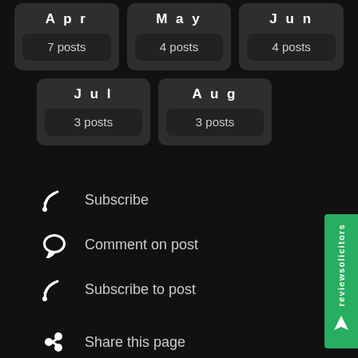[Figure (screenshot): Month archive cards showing Apr 7 posts, May 4 posts, Jun 4 posts, Jul 3 posts, Aug 3 posts]
Subscribe
Comment on post
Subscribe to post
Share this page